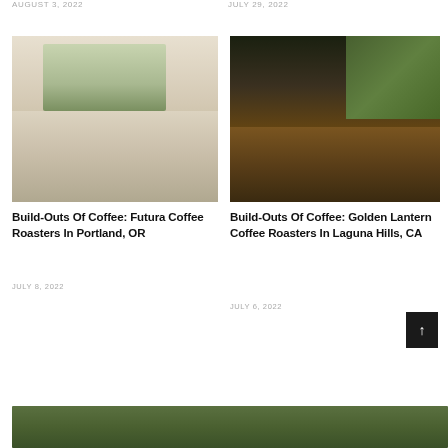AUGUST 3, 2022
JULY 29, 2022
[Figure (photo): Interior of a bright coffee roaster with white counters, pendant lights, and plants]
[Figure (photo): Interior of Golden Lantern Coffee Roasters, dark atmosphere with tropical plants and wooden tables]
Build-Outs Of Coffee: Futura Coffee Roasters In Portland, OR
Build-Outs Of Coffee: Golden Lantern Coffee Roasters In Laguna Hills, CA
JULY 8, 2022
JULY 6, 2022
[Figure (photo): Partial bottom image, green outdoor/nature scene]